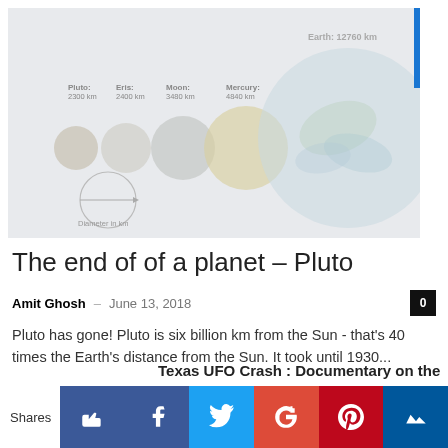[Figure (infographic): Planet size comparison infographic showing Pluto (2300 km), Eris (2400 km), Moon (3480 km), Mercury (4840 km), and Earth (12760 km) as circles of increasing size, with a diameter illustration at bottom left.]
The end of of a planet – Pluto
Amit Ghosh  –  June 13, 2018
Pluto has gone! Pluto is six billion km from the Sun - that's 40 times the Earth's distance from the Sun. It took until 1930...
Texas UFO Crash : Documentary on the
Shares